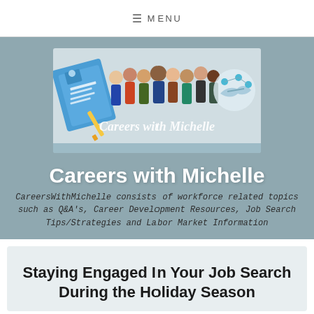≡ MENU
[Figure (illustration): Careers with Michelle logo banner showing diverse group of cartoon people in professional attire, with a large resume document on the left and a business handshake graphic on the right, and cursive text 'Careers with Michelle' overlaid]
Careers with Michelle
CareersWithMichelle consists of workforce related topics such as Q&A's, Career Development Resources, Job Search Tips/Strategies and Labor Market Information
Staying Engaged In Your Job Search During the Holiday Season